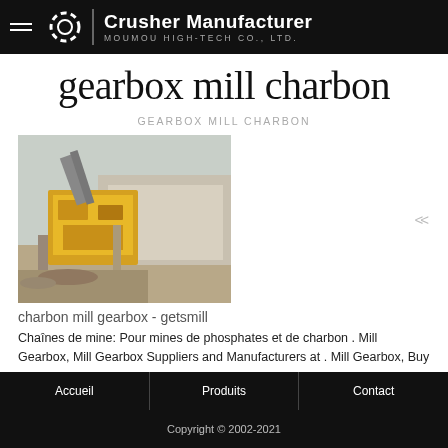Crusher Manufacturer MOUMOU HIGH-TECH CO., LTD.
gearbox mill charbon
GEARBOX MILL CHARBON
[Figure (photo): Outdoor industrial crusher/mill machinery installation with yellow equipment on concrete foundation, industrial building in background]
charbon mill gearbox - getsmill
Chaînes de mine: Pour mines de phosphates et de charbon . Mill Gearbox, Mill Gearbox Suppliers and Manufacturers at . Mill Gearbox, Buy Various ...
Accueil   Produits   Contact
Copyright © 2002-2021